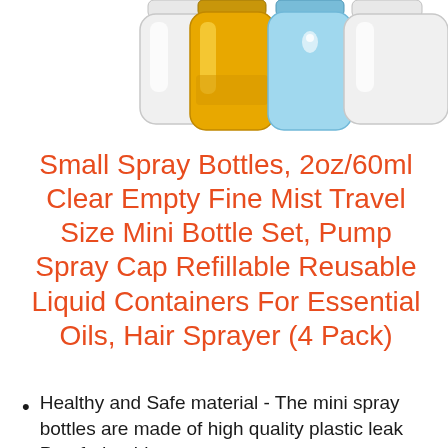[Figure (illustration): Partial top view of small spray bottles - clear/white, yellow/gold, and blue colored bottles with spray pump caps, cropped at the top of the image]
Small Spray Bottles, 2oz/60ml Clear Empty Fine Mist Travel Size Mini Bottle Set, Pump Spray Cap Refillable Reusable Liquid Containers For Essential Oils, Hair Sprayer (4 Pack)
Healthy and Safe material - The mini spray bottles are made of high quality plastic leak Proof, durable